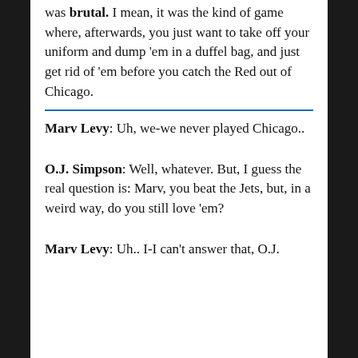was brutal. I mean, it was the kind of game where, afterwards, you just want to take off your uniform and dump 'em in a duffel bag, and just get rid of 'em before you catch the Red out of Chicago.
Marv Levy: Uh, we-we never played Chicago..
O.J. Simpson: Well, whatever. But, I guess the real question is: Marv, you beat the Jets, but, in a weird way, do you still love 'em?
Marv Levy: Uh.. I-I can't answer that, O.J.